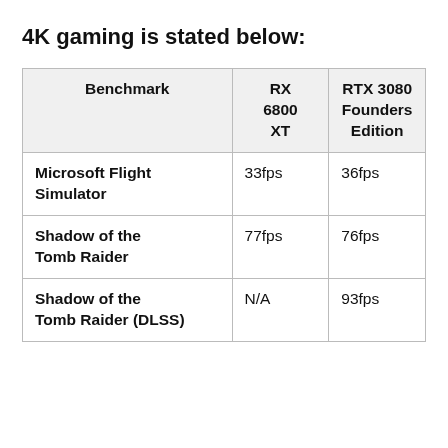4K gaming is stated below:
| Benchmark | RX 6800 XT | RTX 3080 Founders Edition |
| --- | --- | --- |
| Microsoft Flight Simulator | 33fps | 36fps |
| Shadow of the Tomb Raider | 77fps | 76fps |
| Shadow of the Tomb Raider (DLSS) | N/A | 93fps |